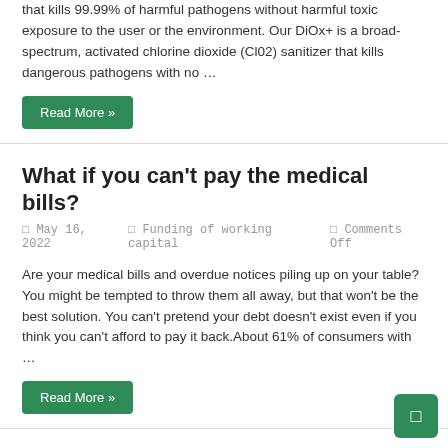that kills 99.99% of harmful pathogens without harmful toxic exposure to the user or the environment. Our DiOx+ is a broad-spectrum, activated chlorine dioxide (Cl02) sanitizer that kills dangerous pathogens with no …
Read More »
What if you can't pay the medical bills?
May 16, 2022   Funding of working capital   Comments Off
Are your medical bills and overdue notices piling up on your table? You might be tempted to throw them all away, but that won't be the best solution. You can't pretend your debt doesn't exist even if you think you can't afford to pay it back.About 61% of consumers with …
Read More »
Is the loan between individuals suitable for you?